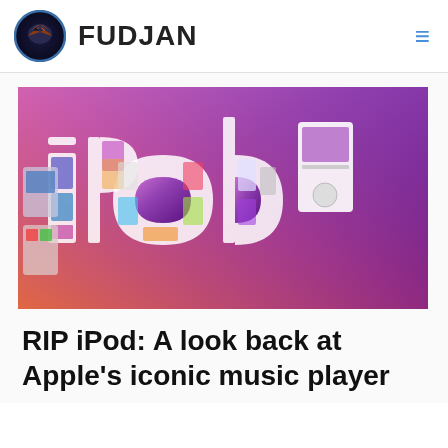FUDJAN
[Figure (illustration): iPod logo illustration with multiple iPod device images composited into the letters 'iPod' on a purple/pink gradient background]
RIP iPod: A look back at Apple's iconic music player